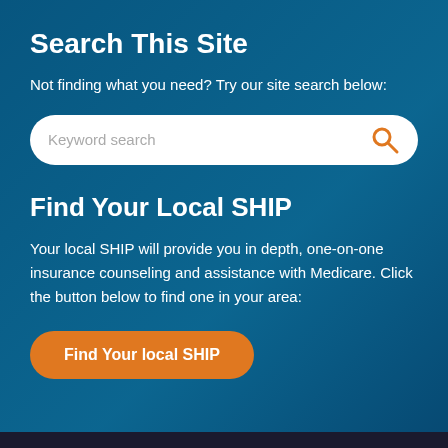Search This Site
Not finding what you need? Try our site search below:
[Figure (other): Keyword search input bar with orange magnifying glass icon on right, white rounded rectangle on dark teal background]
Find Your Local SHIP
Your local SHIP will provide you in depth, one-on-one insurance counseling and assistance with Medicare. Click the button below to find one in your area:
[Figure (other): Orange rounded button labeled 'Find Your local SHIP']